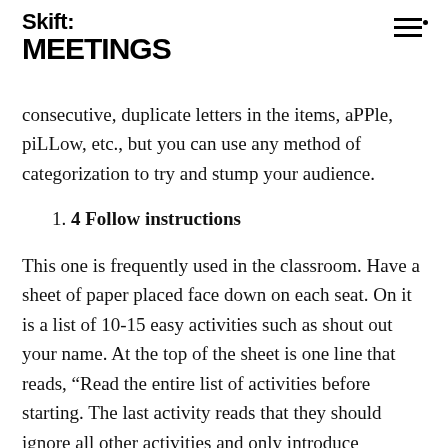Skift MEETINGS
consecutive, duplicate letters in the items, aPPle, piLLow, etc., but you can use any method of categorization to try and stump your audience.
1. 4 Follow instructions
This one is frequently used in the classroom. Have a sheet of paper placed face down on each seat. On it is a list of 10-15 easy activities such as shout out your name. At the top of the sheet is one line that reads, “Read the entire list of activities before starting. The last activity reads that they should ignore all other activities and only introduce themselves to the person sitting next to them. Tell